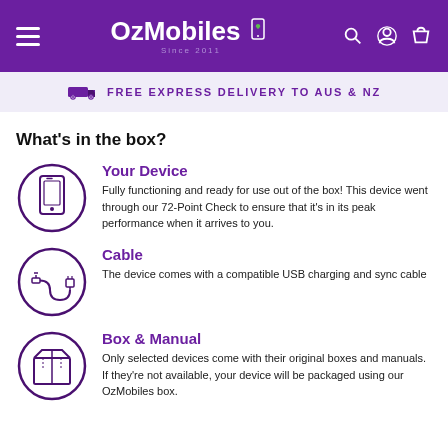OzMobiles Since 2011
FREE EXPRESS DELIVERY TO AUS & NZ
What's in the box?
[Figure (illustration): Circle icon with a smartphone silhouette]
Your Device
Fully functioning and ready for use out of the box! This device went through our 72-Point Check to ensure that it's in its peak performance when it arrives to you.
[Figure (illustration): Circle icon with a USB cable]
Cable
The device comes with a compatible USB charging and sync cable
[Figure (illustration): Circle icon with a box/package]
Box & Manual
Only selected devices come with their original boxes and manuals. If they're not available, your device will be packaged using our OzMobiles box.